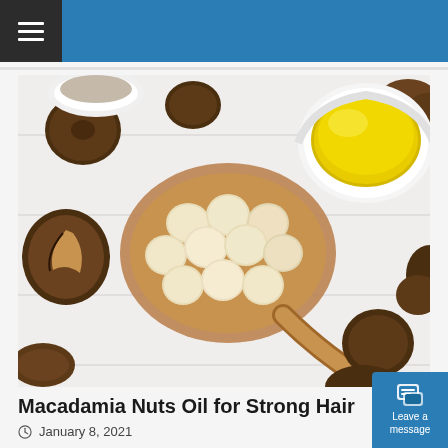[Figure (photo): Macadamia nuts — shelled pale cream-colored nuts arranged on a wooden spoon, unshelled brown nuts scattered around, and a white bowl filled with golden macadamia oil, all on a white wooden surface.]
Macadamia Nuts Oil for Strong Hair
January 8, 2021